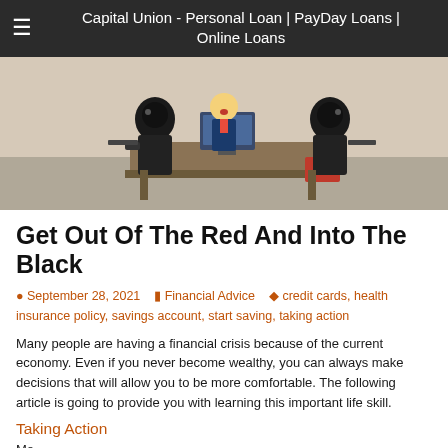Capital Union - Personal Loan | PayDay Loans | Online Loans
[Figure (photo): Photo of three LEGO figures in a bank robbery or office confrontation scene, with two black-armored figures flanking a suited figure at a desk with a computer]
Get Out Of The Red And Into The Black
September 28, 2021   Financial Advice   credit cards, health insurance policy, savings account, start saving, taking action
Many people are having a financial crisis because of the current economy. Even if you never become wealthy, you can always make decisions that will allow you to be more comfortable. The following article is going to provide you with learning this important life skill.
Taking Action
Mo...